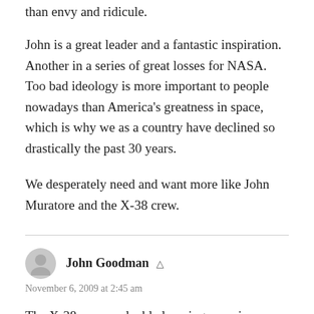than envy and ridicule.
John is a great leader and a fantastic inspiration. Another in a series of great losses for NASA. Too bad ideology is more important to people nowadays than America's greatness in space, which is why we as a country have declined so drastically the past 30 years.
We desperately need and want more like John Muratore and the X-38 crew.
John Goodman ▲
November 6, 2009 at 2:45 am
The X-38 was a valuable learning experience